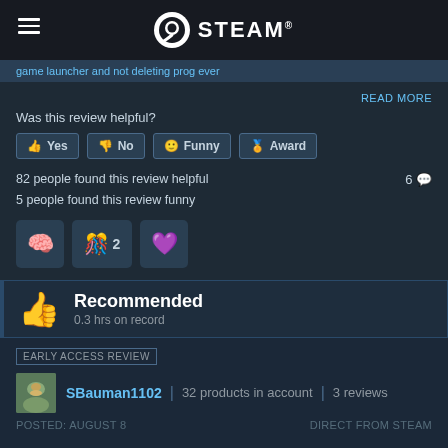STEAM
game launcher and not deleting prog ever
READ MORE
Was this review helpful?
Yes | No | Funny | Award
82 people found this review helpful
5 people found this review funny
6
[Figure (infographic): Award badge icons: brain/gear icon, colorful figures with number 2, purple heart icon]
Recommended
0.3 hrs on record
EARLY ACCESS REVIEW
[Figure (photo): User avatar for SBauman1102]
SBauman1102 | 32 products in account | 3 reviews
POSTED: AUGUST 8
DIRECT FROM STEAM